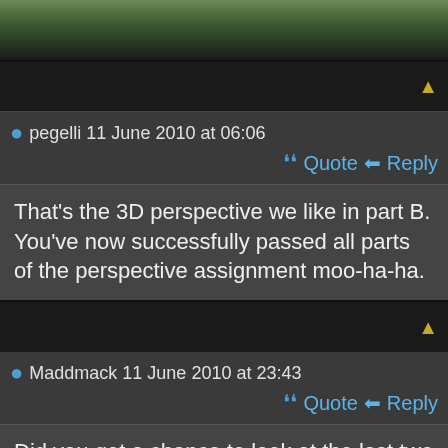[Figure (photo): Top image bar showing colorful partial image at top of page]
pegelli 11 June 2010 at 06:06
Quote  Reply
That's the 3D perspective we like in part B. You've now successfully passed all parts of the perspective assignment moo-ha-ha.
Maddmack 11 June 2010 at 23:43
Quote  Reply
Did you get a chance to look at the last two pics